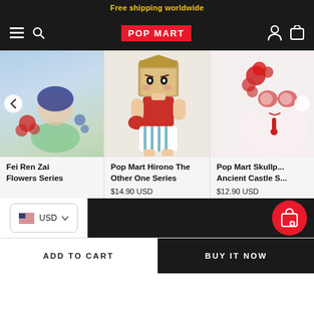Free shipping worldwide
[Figure (screenshot): Pop Mart navigation bar with hamburger menu, search icon, POP MART logo in red, person icon, and shopping bag icon on black background]
[Figure (photo): Partial product image of Fei Ren Zai Flowers Series collectible figure - anime-style character with blue hair and flowers]
Fei Ren Zai Flowers Series
[Figure (photo): Pop Mart Hirono The Other One Series collectible figure - character wearing cardboard box as helmet, red tank top, boxing glove, striped shorts]
Pop Mart Hirono The Other One Series
$14.90 USD
[Figure (photo): Pop Mart Skullpanda Ancient Castle Series collectible figure - white and red floral skull character]
Pop Mart Skullp... Ancient Castle S...
$12.90 USD
USD
ADD TO CART
BUY IT NOW